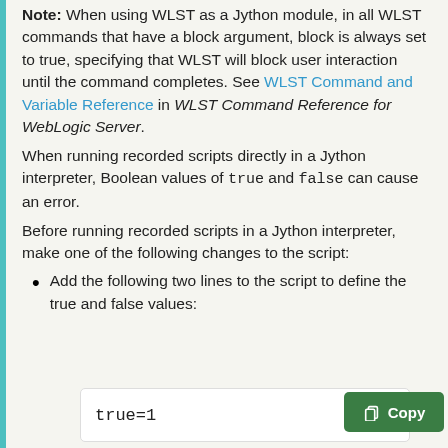Note: When using WLST as a Jython module, in all WLST commands that have a block argument, block is always set to true, specifying that WLST will block user interaction until the command completes. See WLST Command and Variable Reference in WLST Command Reference for WebLogic Server.
When running recorded scripts directly in a Jython interpreter, Boolean values of true and false can cause an error.
Before running recorded scripts in a Jython interpreter, make one of the following changes to the script:
Add the following two lines to the script to define the true and false values:
true=1